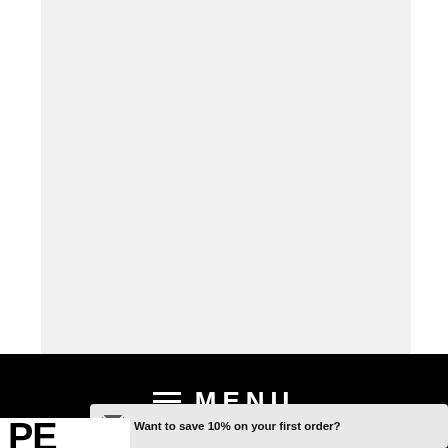[Figure (other): Light gray rectangular image placeholder area]
MENU
Want to save 10% on your first order?
PE...